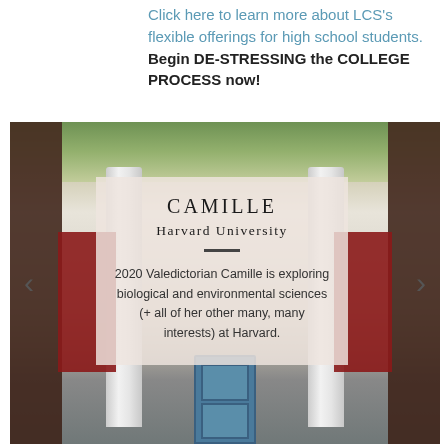Click here to learn more about LCS's flexible offerings for high school students. Begin DE-STRESSING the COLLEGE PROCESS now!
[Figure (photo): Photo of Harvard University building entrance with white columns and red banners, overlaid with a semi-transparent card showing student profile. Card reads: CAMILLE, Harvard University, with a divider line, and body text: '2020 Valedictorian Camille is exploring biological and environmental sciences (+ all of her other many, many interests) at Harvard.' Navigation arrows on left and right.]